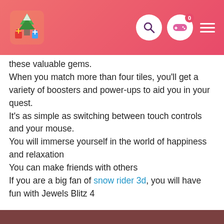Snow Rider [logo] [search icon] [gamepad icon] 0 [menu icon]
these valuable gems.
When you match more than four tiles, you'll get a variety of boosters and power-ups to aid you in your quest.
It's as simple as switching between touch controls and your mouse.
You will immerse yourself in the world of happiness and relaxation
You can make friends with others
If you are a big fan of snow rider 3d, you will have fun with Jewels Blitz 4
Controls
Utilize your mouse to play this game